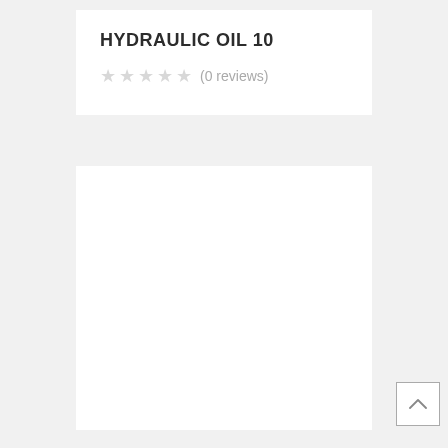HYDRAULIC OIL 10
★★★★★ (0 reviews)